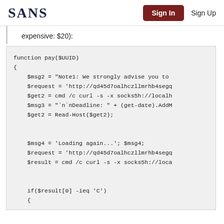SANS | Sign In | Sign Up
expensive: $20):
[Figure (screenshot): Code block showing a PowerShell function named pay($UUID) with variables $msg2, $request, $get2, $msg3, $msg4, $result and conditional logic using -ieq operator.]